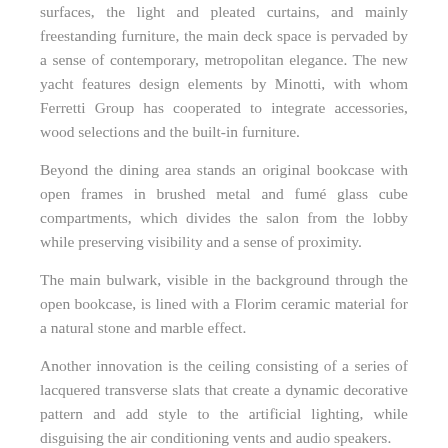surfaces, the light and pleated curtains, and mainly freestanding furniture, the main deck space is pervaded by a sense of contemporary, metropolitan elegance. The new yacht features design elements by Minotti, with whom Ferretti Group has cooperated to integrate accessories, wood selections and the built-in furniture.
Beyond the dining area stands an original bookcase with open frames in brushed metal and fumé glass cube compartments, which divides the salon from the lobby while preserving visibility and a sense of proximity.
The main bulwark, visible in the background through the open bookcase, is lined with a Florim ceramic material for a natural stone and marble effect.
Another innovation is the ceiling consisting of a series of lacquered transverse slats that create a dynamic decorative pattern and add style to the artificial lighting, while disguising the air conditioning vents and audio speakers.